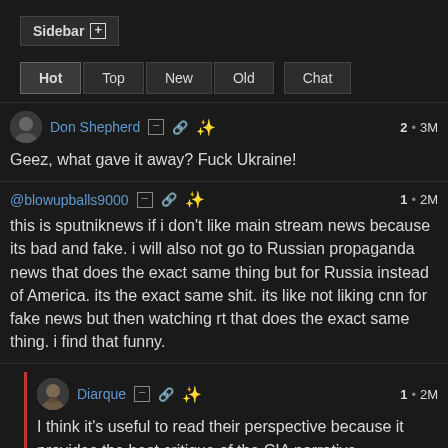Sidebar +
Hot | Top | New | Old | Chat
Don Shepherd  2 • 3M
Geez, what gave it away? Fuck Ukraine!
@blowupballs9000  1 • 2M
this is sputniknews if i don't like main stream news because its bad and fake. i will also not go to Russian propaganda news that does the exact same thing but for Russia instead of America. its the exact same shit. its like not liking cnn for fake news but then watching rt that does the exact same thing. i find that funny.
Diarque  1 • 2M
I think it's useful to read their perspective because it provides the best critique of the CIA narrative.